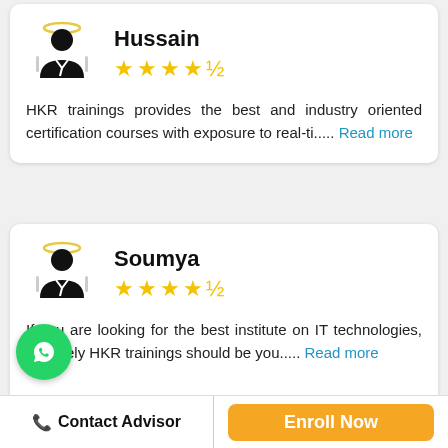[Figure (illustration): User avatar icon with halo ring for reviewer Hussain]
Hussain
[Figure (other): 4.5 star rating shown as yellow stars]
HKR trainings provides the best and industry oriented certification courses with exposure to real-ti..... Read more
[Figure (illustration): User avatar icon with halo ring for reviewer Soumya]
Soumya
[Figure (other): 4.5 star rating shown as yellow stars]
If you are looking for the best institute on IT technologies, definitely HKR trainings should be you..... Read more
[Figure (logo): WhatsApp green circle button with phone icon]
Contact Advisor
Enroll Now